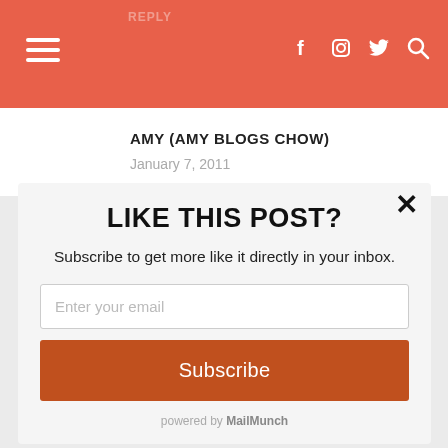Navigation bar with hamburger menu and social icons (f, instagram, twitter, search) on coral/red background
AMY (AMY BLOGS CHOW)
January 7, 2011
Bravo, Carol. You are absolutely right to take a stand. I resolved to do the same a
LIKE THIS POST?
Subscribe to get more like it directly in your inbox.
Enter your email
Subscribe
powered by MailMunch